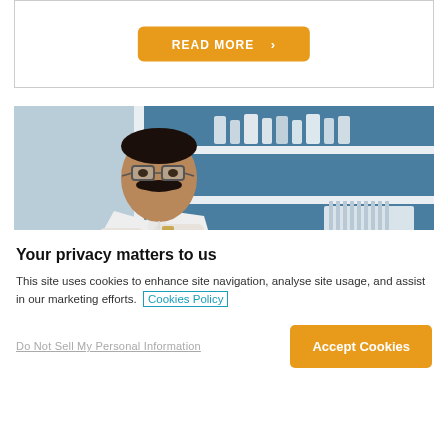[Figure (other): READ MORE button inside a card with border]
[Figure (photo): A scientist in a white lab coat with glasses, arms crossed, in a laboratory setting with shelves of lab equipment and test tubes in the background]
Your privacy matters to us
This site uses cookies to enhance site navigation, analyse site usage, and assist in our marketing efforts. Cookies Policy
Do Not Sell My Personal Information
Accept Cookies